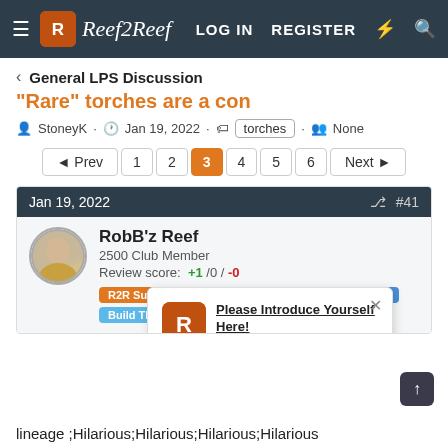Reef2Reef | LOG IN | REGISTER
General LPS Discussion
"Rare" torches are a con
StoneyK · Jan 19, 2022 · torches · None
Prev 1 2 3 4 5 6 Next
Jan 19, 2022  #41
RobB'z Reef
2500 Club Member
Review score: +1 /0 /-0
R2R Supporter  Wisco Reefers  Midwest Reefer
Build Th...
[Figure (screenshot): Popup notification with Reef2Reef logo: 'Please Introduce Yourself Here!']
lineage ;Hilarious;Hilarious;Hilarious;Hilarious